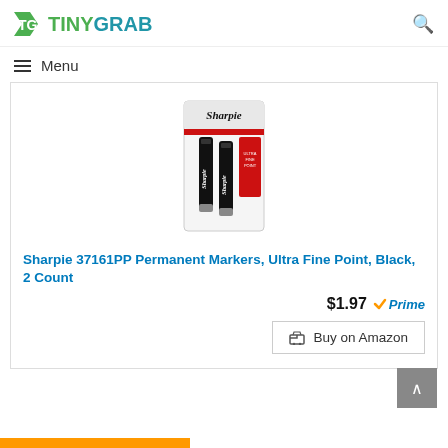TinyGrab
≡ Menu
[Figure (photo): Sharpie 37161PP Permanent Markers Ultra Fine Point Black 2 Count product package — two black markers in blister packaging with red Sharpie branding]
Sharpie 37161PP Permanent Markers, Ultra Fine Point, Black, 2 Count
$1.97 ✓Prime
🛒 Buy on Amazon